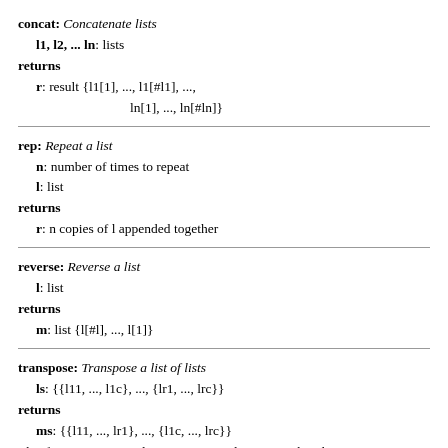concat: Concatenate lists
  l1, l2, ... ln: lists
returns
  r: result {l1[1], ..., l1[#l1], ...,
              ln[1], ..., ln[#ln]}
rep: Repeat a list
  n: number of times to repeat
  l: list
returns
  r: n copies of l appended together
reverse: Reverse a list
  l: list
returns
  m: list {l[#l], ..., l[1]}
transpose: Transpose a list of lists
  ls: {{l11, ..., l1c}, ..., {lr1, ..., lrc}}
returns
  ms: {{l11, ..., lr1}, ..., {l1c, ..., lrc}}
This function is equivalent to joining columns together that...